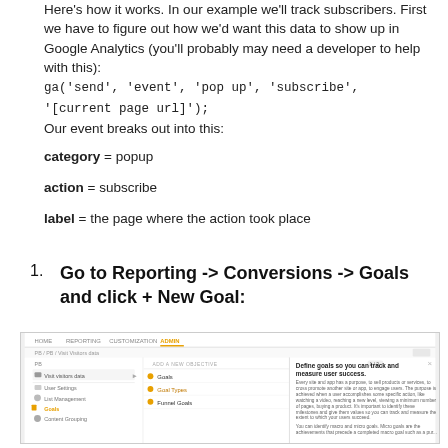Here's how it works. In our example we'll track subscribers. First we have to figure out how we'd want this data to show up in Google Analytics (you'll probably may need a developer to help with this):
ga('send', 'event', 'pop up', 'subscribe', '[current page url]');
Our event breaks out into this:
category = popup
action = subscribe
label = the page where the action took place
1.  Go to Reporting -> Conversions -> Goals and click + New Goal:
[Figure (screenshot): Google Analytics Goals admin screenshot showing navigation bar with HOME, REPORTING, CUSTOMIZATION, ADMIN tabs, breadcrumb trail, left sidebar with Visit Visitors data, User Settings, List Management, Goals, Content Grouping items, and right panel showing 'Add a new objective' with Goals, Goal Types, Funnel Goals options and a panel explaining 'Define goals so you can track and measure user success.']